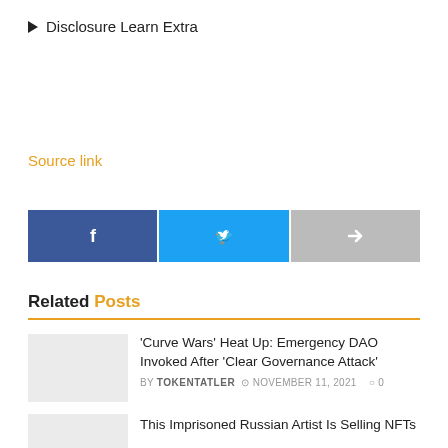▶ Disclosure Learn Extra
Source link
[Figure (other): Social share buttons: Facebook (blue), Twitter (light blue), Share/forward (gray)]
Related Posts
'Curve Wars' Heat Up: Emergency DAO Invoked After 'Clear Governance Attack'
BY TOKENTATLER  NOVEMBER 11, 2021  0
This Imprisoned Russian Artist Is Selling NFTs